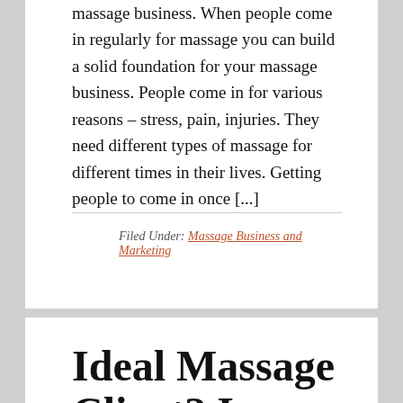massage business.  When people come in regularly for massage you can build a solid foundation for your massage business.  People come in for various reasons – stress, pain, injuries.  They need different types of massage for different times in their lives.  Getting people to come in once [...]
Filed Under: Massage Business and Marketing
Ideal Massage Client? Is there such a thing?